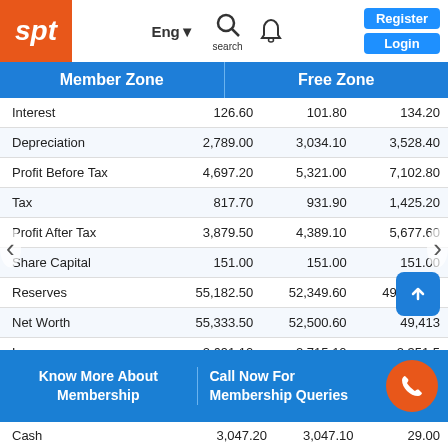[Figure (screenshot): SPT website header with logo, language selector, search, notification, Register and Login buttons]
Member Zone | Free Zone
|  | Col1 | Col2 | Col3 |
| --- | --- | --- | --- |
| Interest | 126.60 | 101.80 | 134.20 |
| Depreciation | 2,789.00 | 3,034.10 | 3,528.40 |
| Profit Before Tax | 4,697.20 | 5,321.00 | 7,102.80 |
| Tax | 817.70 | 931.90 | 1,425.20 |
| Profit After Tax | 3,879.50 | 4,389.10 | 5,677.60 |
| Share Capital | 151.00 | 151.00 | 151.00 |
| Reserves | 55,182.50 | 52,349.60 | 49,262.00 |
| Net Worth | 55,333.50 | 52,500.60 | 49,413... |
| Loans | 2,691.10 | 2,715.10 | 2,351.5... |
| Cash | 3,047.20 | 3,047.10 | 29.00 |
Know More About Membership
Call Now For Membership Queries